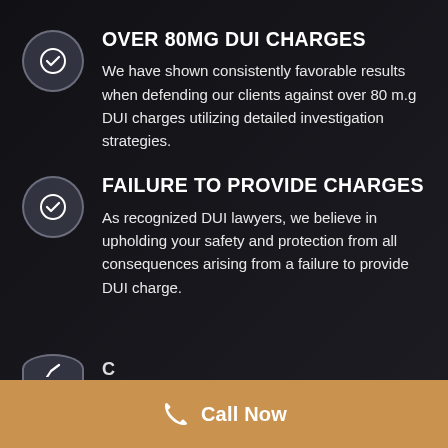OVER 80MG DUI CHARGES
We have shown consistently favorable results when defending our clients against over 80 m.g DUI charges utilizing detailed investigation strategies.
FAILURE TO PROVIDE CHARGES
As recognized DUI lawyers, we believe in upholding your safety and protection from all consequences arising from a failure to provide DUI charge.
Call Now